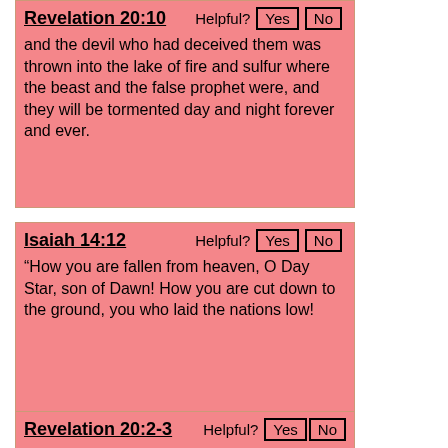Revelation 20:10  Helpful? Yes No
and the devil who had deceived them was thrown into the lake of fire and sulfur where the beast and the false prophet were, and they will be tormented day and night forever and ever.
Isaiah 14:12  Helpful? Yes No
“How you are fallen from heaven, O Day Star, son of Dawn! How you are cut down to the ground, you who laid the nations low!
Revelation 20:2-3  Helpful? Yes No